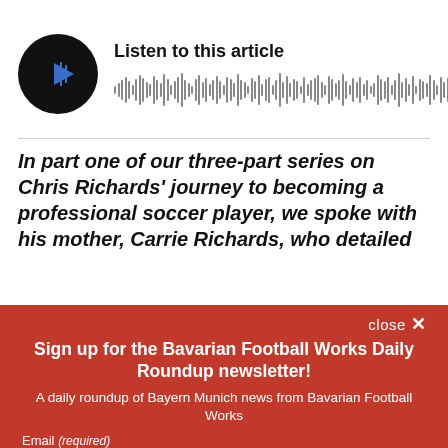[Figure (other): Audio player widget with circular black play button icon and waveform visualization bars, with label 'Listen to this article']
In part one of our three-part series on Chris Richards' journey to becoming a professional soccer player, we spoke with his mother, Carrie Richards, who detailed
close ✕
Sign up for the Bavarian Football Works Daily Roundup newsletter!
A daily roundup of Bayern Munich news from Bavarian Football Works
Email (required)
SUBSCRIBE
By submitting your email, you agree to our Terms and Privacy Notice. You can opt out at any time. This site is protected by reCAPTCHA and the Google Privacy Policy and Terms of Service apply.